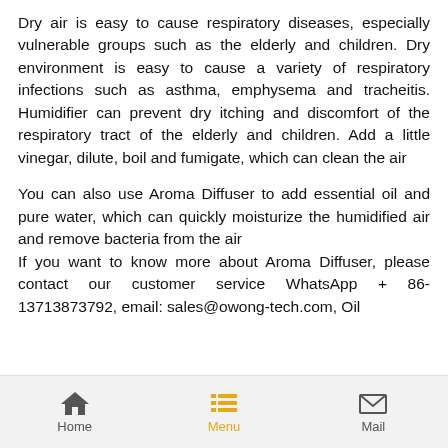Dry air is easy to cause respiratory diseases, especially vulnerable groups such as the elderly and children. Dry environment is easy to cause a variety of respiratory infections such as asthma, emphysema and tracheitis. Humidifier can prevent dry itching and discomfort of the respiratory tract of the elderly and children. Add a little vinegar, dilute, boil and fumigate, which can clean the air
You can also use Aroma Diffuser to add essential oil and pure water, which can quickly moisturize the humidified air and remove bacteria from the air
If you want to know more about Aroma Diffuser, please contact our customer service WhatsApp + 86-13713873792, email: sales@owong-tech.com, Oil
Home | Menu | Mail